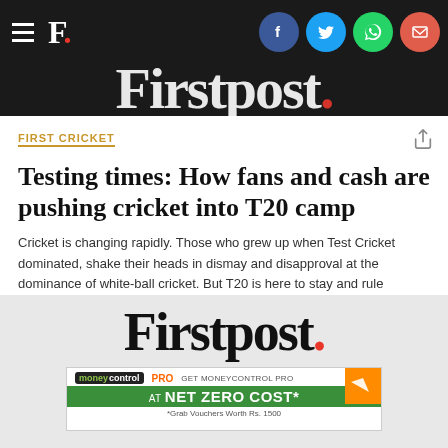F. [Firstpost logo with social share icons: Facebook, Twitter, WhatsApp, Email]
FIRST CRICKET
Testing times: How fans and cash are pushing cricket into T20 camp
Cricket is changing rapidly. Those who grew up when Test Cricket dominated, shake their heads in dismay and disapproval at the dominance of white-ball cricket. But T20 is here to stay and rule
[Figure (logo): Firstpost logo large with red dot, on grey background]
[Figure (screenshot): Moneycontrol PRO advertisement banner: GET MONEYCONTROL PRO AT NET ZERO COST* *Grab Vouchers Worth Rs. 1500]